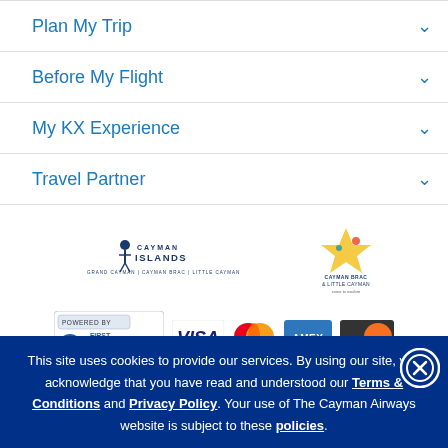Plan My Trip
Before My Flight
My KX Experience
Travel Partner
[Figure (logo): Cayman Islands tourism logo — GRAND CAYMAN | CAYMAN BRAC | LITTLE CAYMAN]
[Figure (logo): Cayman Brac & Little Cayman tourism logo with star figure]
[Figure (logo): First Atlantic Commerce powered by badge with Visa, MasterCard, AMEX, Discover payment icons]
This site uses cookies to provide our services. By using our site, you acknowledge that you have read and understood our Terms & Conditions and Privacy Policy. Your use of The Cayman Airways website is subject to these policies.